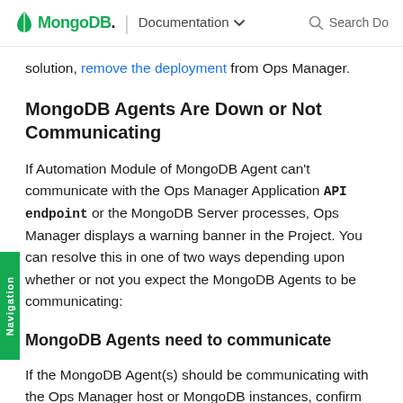MongoDB | Documentation Search Do
solution, remove the deployment from Ops Manager.
MongoDB Agents Are Down or Not Communicating
If Automation Module of MongoDB Agent can't communicate with the Ops Manager Application API endpoint or the MongoDB Server processes, Ops Manager displays a warning banner in the Project. You can resolve this in one of two ways depending upon whether or not you expect the MongoDB Agents to be communicating:
MongoDB Agents need to communicate
If the MongoDB Agent(s) should be communicating with the Ops Manager host or MongoDB instances, confirm